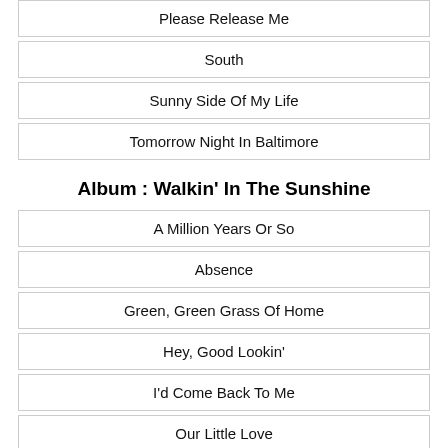Please Release Me
South
Sunny Side Of My Life
Tomorrow Night In Baltimore
Album : Walkin' In The Sunshine
A Million Years Or So
Absence
Green, Green Grass Of Home
Hey, Good Lookin'
I'd Come Back To Me
Our Little Love